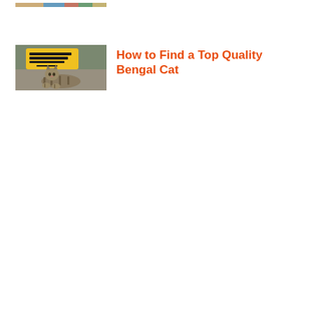[Figure (photo): Partial top edge of an image showing colorful items, cropped at the top of the page]
[Figure (photo): A Bengal cat lying on the ground in front of a yellow sign that reads 'How to Find a Top Quality Bengal Cat']
How to Find a Top Quality Bengal Cat